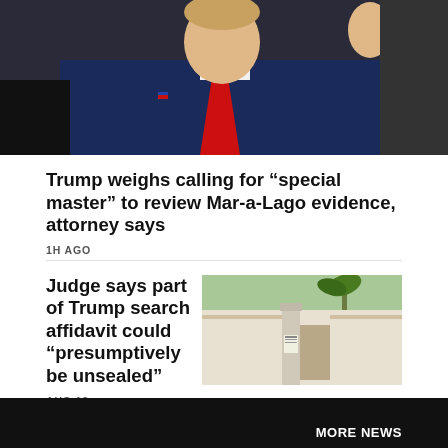[Figure (photo): Man in navy blue suit with red tie, raising hand, photographed from chest up]
Trump weighs calling for "special master" to review Mar-a-Lago evidence, attorney says
1H AGO
Judge says part of Trump search affidavit could "presumptively be unsealed"
AUG 18
[Figure (photo): Gate or entrance to a property, likely Mar-a-Lago, with palm trees visible]
Arlington voters to decide on increasing term lengths for mayor, city council
AUG 17
[Figure (photo): Vote sign on a lawn, red white and blue with arrows and stars]